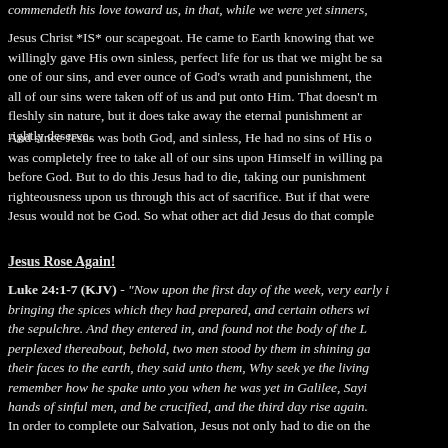commendeth his love toward us, in that, while we were yet sinners,
Jesus Christ *IS* our scapegoat. He came to Earth knowing that we willingly gave His own sinless, perfect life for us that we might be sa one of our sins, and ever ounce of God's wrath and punishment, the all of our sins were taken off of us and put onto Him. That doesn't m fleshly sin nature, but it does take away the eternal punishment ar rightly deserve.
And since Jesus was both God, and sinless, He had no sins of His o was completely free to take all of our sins upon Himself in willing pa before God. But to do this Jesus had to die, taking our punishment righteousness upon us through this act of sacrifice. But if that were Jesus would not be God. So what other act did Jesus do that comple
Jesus Rose Again!
Luke 24:1-7 (KJV) - "Now upon the first day of the week, very early i bringing the spices which they had prepared, and certain others wi the sepulchre. And they entered in, and found not the body of the L perplexed thereabout, behold, two men stood by them in shining ga their faces to the earth, they said unto them, Why seek ye the living remember how he spake unto you when he was yet in Galilee, Sayi hands of sinful men, and be crucified, and the third day rise again.
In order to complete our Salvation, Jesus not only had to die on the